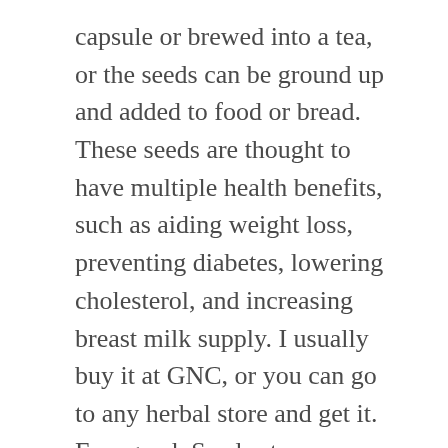capsule or brewed into a tea, or the seeds can be ground up and added to food or bread. These seeds are thought to have multiple health benefits, such as aiding weight loss, preventing diabetes, lowering cholesterol, and increasing breast milk supply. I usually buy it at GNC, or you can go to any herbal store and get it. Fenugreek Seeds at Walgreens. In this article, we at Boldsky will answer a few basic questions surrounding the fact that fenugreek seeds can cure diabetes. If you’re looking to buy cannabis seeds, this is by far the best … Made in South Africa Fenugreek Seeds Directory - Offering Wholesale South African Fenugreek Seeds from South Africa Fenugreek Seeds Manufacturers, Suppliers and Distributors at TradeKey.com Take a look at these. Please enable JavaScript in your browser and reload the page. They can be used whole or ground into a